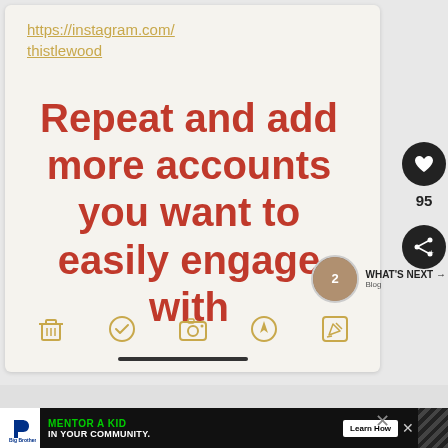[Figure (screenshot): Mobile app screenshot showing a white/cream background card with a golden underlined URL 'https://instagram.com/thistlewood' at the top, large red-brown bold text reading 'Repeat and add more accounts you want to easily engage with', a row of 5 golden icon buttons at the bottom, a black home-bar indicator, and a black heart/like button (95 likes) and share button on the right sidebar, with 'WHAT'S NEXT → Blog' thumbnail.]
[Figure (screenshot): Advertisement banner at bottom: Big Brothers Big Sisters logo on black background, green text 'MENTOR A KID IN YOUR COMMUNITY.' with 'Learn How' button, striped pattern, and X close button.]